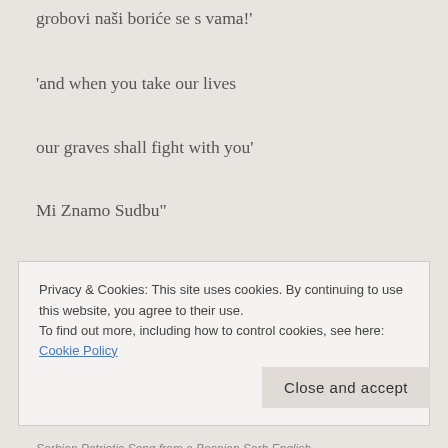grobovi naši boriće se s vama!'
'and when you take our lives
our graves shall fight with you'
Mi Znamo Sudbu"
Goran found an English translation of the whole poem for me to ponder:
Privacy & Cookies: This site uses cookies. By continuing to use this website, you agree to their use. To find out more, including how to control cookies, see here: Cookie Policy
Close and accept
Serbian Patriotic Song from a Bosnian Serb English